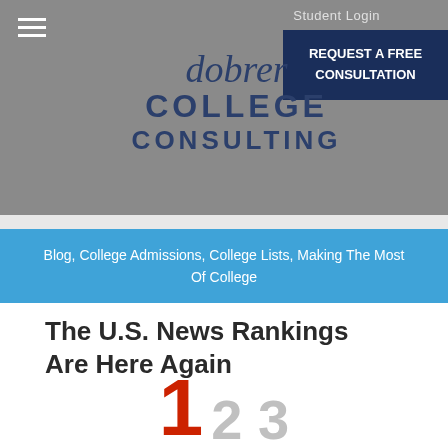Student Login
REQUEST A FREE CONSULTATION
[Figure (logo): Dobrer College Consulting logo with stylized text on gray background]
Blog, College Admissions, College Lists, Making The Most Of College
The U.S. News Rankings Are Here Again
[Figure (illustration): 3D numbers 1, 2, 3 with the number 1 in red and 2, 3 in silver/gray, representing rankings]